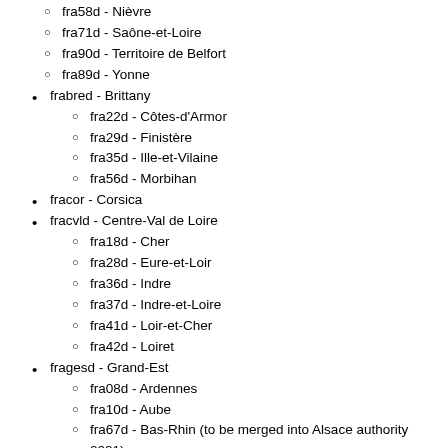fra58d - Nièvre
fra71d - Saône-et-Loire
fra90d - Territoire de Belfort
fra89d - Yonne
frabred - Brittany
fra22d - Côtes-d'Armor
fra29d - Finistère
fra35d - Ille-et-Vilaine
fra56d - Morbihan
fracor - Corsica
fracvld - Centre-Val de Loire
fra18d - Cher
fra28d - Eure-et-Loir
fra36d - Indre
fra37d - Indre-et-Loire
fra41d - Loir-et-Cher
fra42d - Loiret
fragesd - Grand-Est
fra08d - Ardennes
fra10d - Aube
fra67d - Bas-Rhin (to be merged into Alsace authority 2021)
fra51d - Marne
fra52d - Haute-Marne
fra68d - Haut-Rhin (to be merged into Alsace authority 2021)
fra54d - Meurthe-et-Moselle
fra55d - Meuse
fra57d - Moselle
fra88d - Vosges